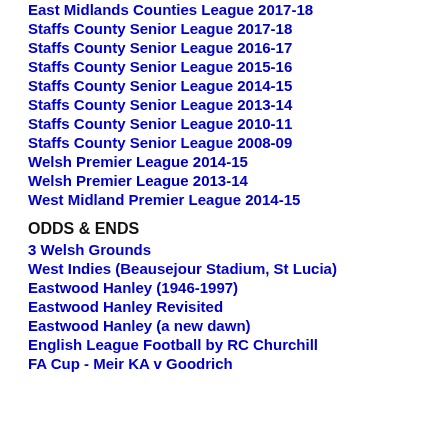East Midlands Counties League 2017-18
Staffs County Senior League 2017-18
Staffs County Senior League 2016-17
Staffs County Senior League 2015-16
Staffs County Senior League 2014-15
Staffs County Senior League 2013-14
Staffs County Senior League 2010-11
Staffs County Senior League 2008-09
Welsh Premier League 2014-15
Welsh Premier League 2013-14
West Midland Premier League 2014-15
ODDS & ENDS
3 Welsh Grounds
West Indies (Beausejour Stadium, St Lucia)
Eastwood Hanley (1946-1997)
Eastwood Hanley Revisited
Eastwood Hanley (a new dawn)
English League Football by RC Churchill
FA Cup - Meir KA v Goodrich